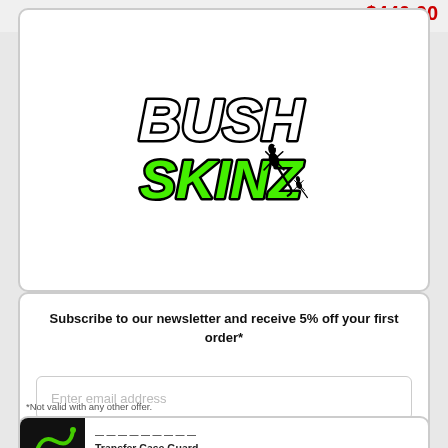$440.00
[Figure (logo): Bush Skinz logo with stylized bold italic white 'BUSH' text and green 'SKINZ' text with a gecko silhouette]
Subscribe to our newsletter and receive 5% off your first order*
Enter email address (placeholder)
Enter
*Not valid with any other offer.
Transfer Case Guard